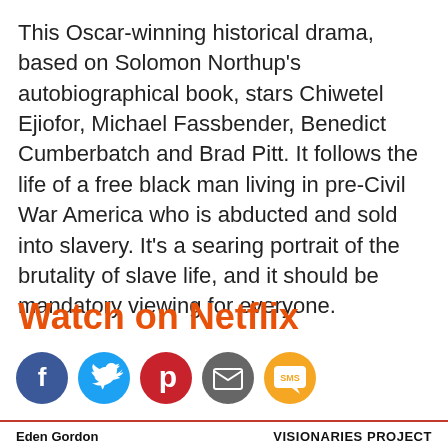This Oscar-winning historical drama, based on Solomon Northup's autobiographical book, stars Chiwetel Ejiofor, Michael Fassbender, Benedict Cumberbatch and Brad Pitt. It follows the life of a free black man living in pre-Civil War America who is abducted and sold into slavery. It's a searing portrait of the brutality of slave life, and it should be mandatory viewing for everyone.
Watch on Netflix
[Figure (infographic): Row of five social media share icons: Facebook (blue circle with f), Twitter (light blue circle with bird), Pinterest (red circle with p), Email (grey circle with envelope), SMS (orange circle with SMS text)]
Eden Gordon    VISIONARIES PROJECT
[Figure (photo): Partial view of a dark purple/maroon image, likely a movie still or promotional image, with a pink/salmon colored triangular shape on the left side]